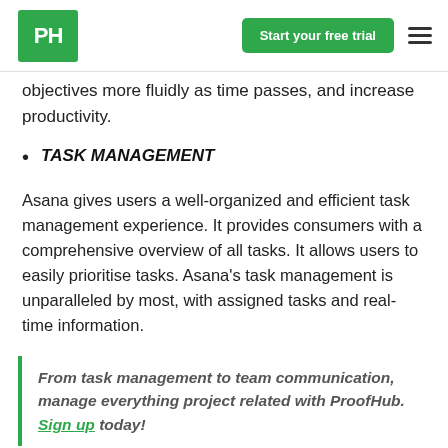PH | Start your free trial
objectives more fluidly as time passes, and increase productivity.
TASK MANAGEMENT
Asana gives users a well-organized and efficient task management experience. It provides consumers with a comprehensive overview of all tasks. It allows users to easily prioritise tasks. Asana's task management is unparalleled by most, with assigned tasks and real-time information.
From task management to team communication, manage everything project related with ProofHub. Sign up today!